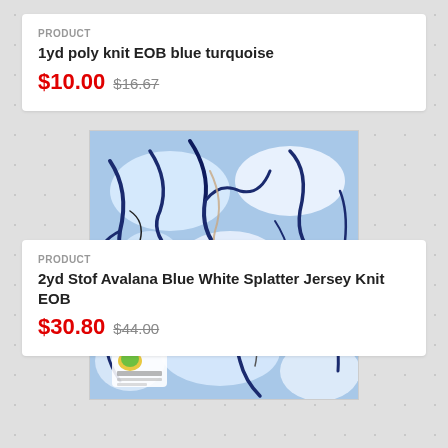PRODUCT
1yd poly knit EOB blue turquoise
$10.00 $16.67
[Figure (photo): Blue and white splatter/abstract fabric pattern - Stof Avalana Jersey Knit with dark blue branch-like marks on white/light blue background, with a small logo in the bottom left corner]
PRODUCT
2yd Stof Avalana Blue White Splatter Jersey Knit EOB
$30.80 $44.00